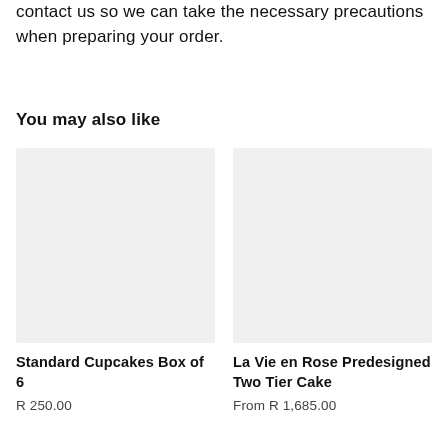contact us so we can take the necessary precautions when preparing your order.
You may also like
[Figure (photo): Placeholder image for Standard Cupcakes Box of 6 product, light grey background]
Standard Cupcakes Box of 6
R 250.00
[Figure (photo): Placeholder image for La Vie en Rose Predesigned Two Tier Cake product, light grey background]
La Vie en Rose Predesigned Two Tier Cake
From R 1,685.00